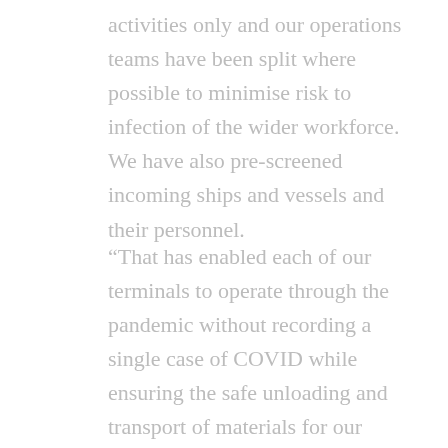activities only and our operations teams have been split where possible to minimise risk to infection of the wider workforce.  We have also pre-screened incoming ships and vessels and their personnel.
“That has enabled each of our terminals to operate through the pandemic without recording a single case of COVID while ensuring the safe unloading and transport of materials for our customers,” says Rasdell.